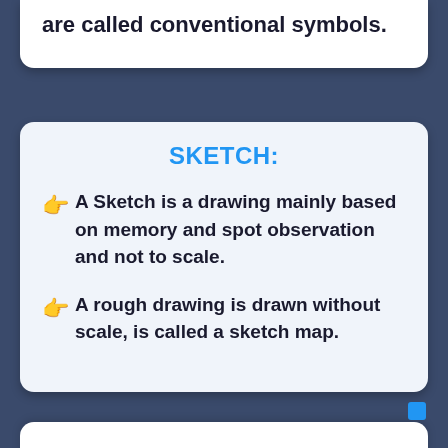are called conventional symbols.
SKETCH:
A Sketch is a drawing mainly based on memory and spot observation and not to scale.
A rough drawing is drawn without scale, is called a sketch map.